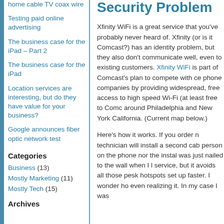home cable TV coax wire
Testing paid online advertising
The business case for the iPad – Part 2
The business case for the iPad
Location services are interesting, but do they have value for your business?
Google announces fiber optic network test
Categories
Business (13)
Mostly Marketing (11)
Mostly Tech (15)
Archives
Security Problem
Xfinity WiFi is a great service that you've probably never heard of. Xfinity (or is it Comcast?) has an identity problem, but they also don't communicate well, even to existing customers. Xfinity WiFi is part of Comcast's plan to compete with ce phone companies by providing widespread, free access to high speed Wi-Fi (at least free to Comc around Philadelphia and New York California. (Current map below.)
Here's how it works. If you order n technician will install a second cab person on the phone nor the instal was just nailed to the wall when I l service, but it avoids all those pesk hotspots set up faster. I wonder ho even realizing it. In my case I was